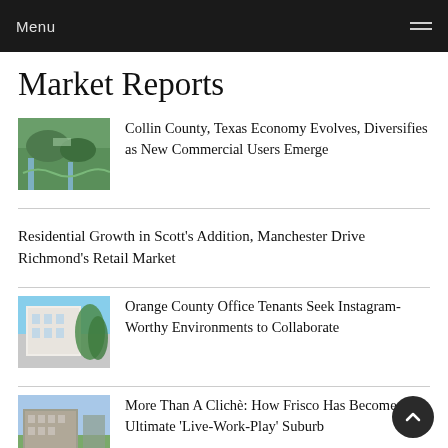Menu
Market Reports
[Figure (photo): Aerial view of a colorful landscaped area with paths and green spaces in Collin County, Texas]
Collin County, Texas Economy Evolves, Diversifies as New Commercial Users Emerge
Residential Growth in Scott’s Addition, Manchester Drive Richmond’s Retail Market
[Figure (photo): Exterior photo of a white multi-story office building with palm trees in Orange County]
Orange County Office Tenants Seek Instagram-Worthy Environments to Collaborate
[Figure (photo): Aerial view of a multi-story residential building complex with green surroundings in Frisco]
More Than A Clichè: How Frisco Has Become the Ultimate ‘Live-Work-Play’ Suburb